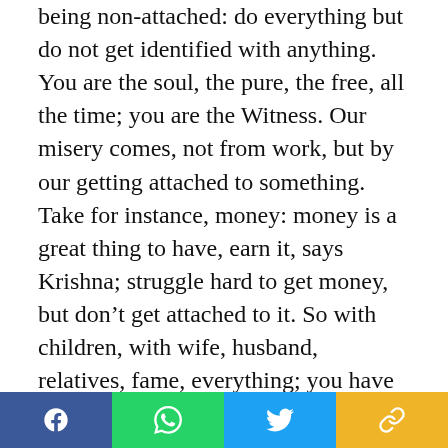being non-attached: do everything but do not get identified with anything. You are the soul, the pure, the free, all the time; you are the Witness. Our misery comes, not from work, but by our getting attached to something. Take for instance, money: money is a great thing to have, earn it, says Krishna; struggle hard to get money, but don’t get attached to it. So with children, with wife, husband, relatives, fame, everything; you have no need to shun them, only don’t get attached. There is only one attachment and that belongs to the Lord, and to none other. Work for them, love them, do good to them, sacrifice a hundred lives, if need be, for them, but never be attached. His own life was the exact
[Figure (other): Social media share bar with four buttons: Facebook (blue), WhatsApp (green), Twitter (light blue), and a link/copy button (yellow/gold)]